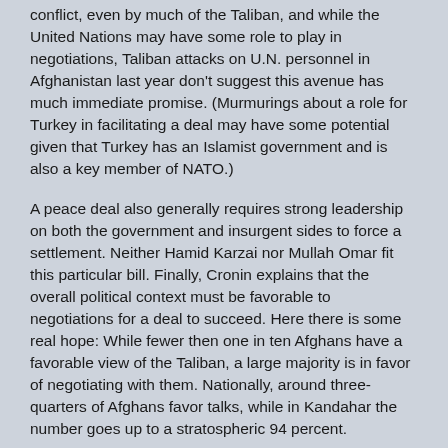conflict, even by much of the Taliban, and while the United Nations may have some role to play in negotiations, Taliban attacks on U.N. personnel in Afghanistan last year don't suggest this avenue has much immediate promise. (Murmurings about a role for Turkey in facilitating a deal may have some potential given that Turkey has an Islamist government and is also a key member of NATO.)
A peace deal also generally requires strong leadership on both the government and insurgent sides to force a settlement. Neither Hamid Karzai nor Mullah Omar fit this particular bill. Finally, Cronin explains that the overall political context must be favorable to negotiations for a deal to succeed. Here there is some real hope: While fewer then one in ten Afghans have a favorable view of the Taliban, a large majority is in favor of negotiating with them. Nationally, around three-quarters of Afghans favor talks, while in Kandahar the number goes up to a stratospheric 94 percent.
All that said, the bottom line on the Taliban reconciliation process is that nothing of any real note is currently happening. According to a Western official familiar with the record of discussions with the Taliban, the chances of a deal with the Taliban similar to the Dayton Accords that ended the Balkans war in the mid-1990s or the Good Friday Agreement that ended the IRA campaign against the British